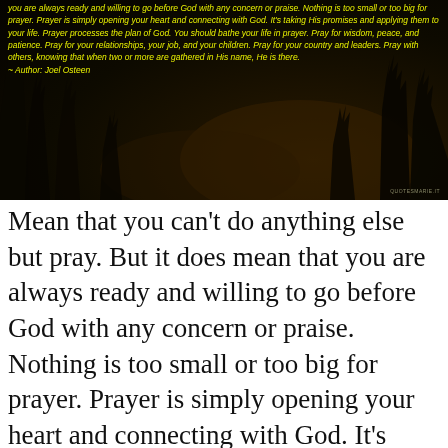[Figure (photo): Dark background image with tree silhouettes and a quote in yellow italic text. Quote reads: 'you are always ready and willing to go before God with any concern or praise. Nothing is too small or too big for prayer. Prayer is simply opening your heart and connecting with God. It's taking His promises and applying them to your life. Prayer processes the plan of God. You should bathe your life in prayer. Pray for wisdom, peace, and patience. Pray for your relationships, your job, and your children. Pray for your country and leaders. Pray with others, knowing that when two or more are gathered in His name, He is there. ~ Author: Joel Osteen']
Mean that you can't do anything else but pray. But it does mean that you are always ready and willing to go before God with any concern or praise. Nothing is too small or too big for prayer. Prayer is simply opening your heart and connecting with God. It's taking His promises and applying them to your life. Prayer processes the plan of God. You should bathe your life in prayer. Pray for wisdom, peace, and patience. Pray for your relationships, your job, and your children. Pray for your country and leaders. Pray with others, knowing that when two or more are gathered in His name, He is there.